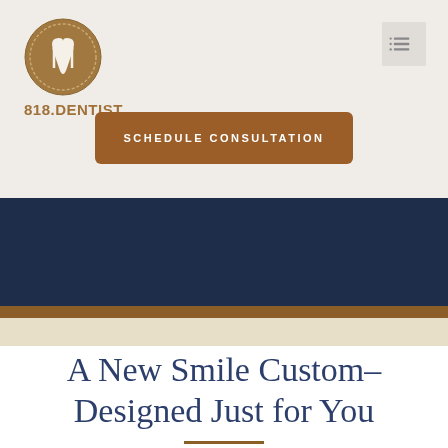[Figure (logo): Circular dental logo with stylized M and tooth icon in brown/tan color scheme]
818.DENTIST
[Figure (infographic): Hamburger menu icon — three horizontal lines on light grey background]
SCHEDULE CONSULTATION
[Figure (photo): Dark navy blue banner section, likely a hero image area]
A New Smile Custom-Designed Just for You